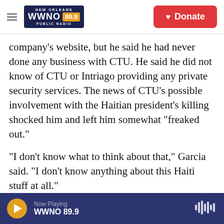NEW ORLEANS WWNO 89.9 PUBLIC RADIO | Donate
company's website, but he said he had never done any business with CTU. He said he did not know of CTU or Intriago providing any private security services. The news of CTU's possible involvement with the Haitian president's killing shocked him and left him somewhat "freaked out."
"I don't know what to think about that," Garcia said. "I don't know anything about this Haiti stuff at all."
Tom O'Dea said his company Varanus Tactical had previously sold about 30 vests of body armor to CTU Security as part of a contract with police in
Now Playing WWNO 89.9